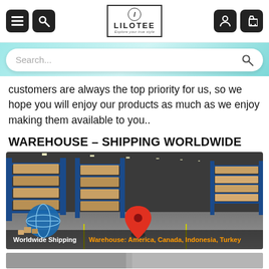[Figure (screenshot): Navigation bar with menu icon, search icon, LILOTEE logo, user icon, and cart icon]
[Figure (screenshot): Search bar with teal/cyan gradient background and search placeholder text]
customers are always the top priority for us, so we hope you will enjoy our products as much as we enjoy making them available to you..
WAREHOUSE – SHIPPING WORLDWIDE
[Figure (photo): Warehouse interior with tall blue shelving racks filled with boxes, globe with shipping boxes overlay, red location pin, caption: Worldwide Shipping | Warehouse: America, Canada, Indonesia, Turkey]
[Figure (photo): Bottom partial image strip]